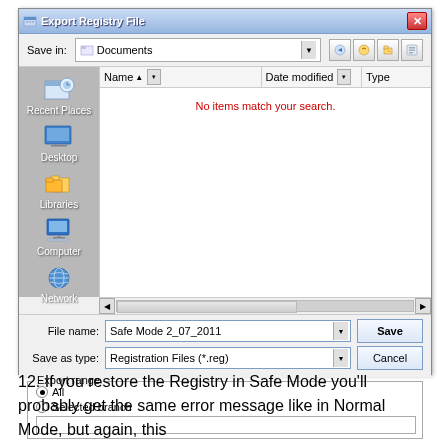[Figure (screenshot): Windows 7 'Export Registry File' dialog box. Shows Save in: Documents, with navigation panel on left (Recent Places, Desktop, Libraries, Computer, Network), empty file list with 'No items match your search.', File name: Safe Mode 2_07_2011, Save as type: Registration Files (*.reg), Save and Cancel buttons, and Export range section at bottom with All and Selected branch radio buttons.]
12. If you restore the Registry in Safe Mode you'll probably get the same error message like in Normal Mode, but again, this